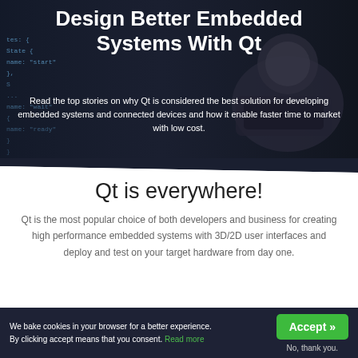[Figure (screenshot): Dark hero banner with code snippet on left and robotic/embedded hardware device image on the right, overlaid with title and subtitle text.]
Design Better Embedded Systems With Qt
Read the top stories on why Qt is considered the best solution for developing embedded systems and connected devices and how it enable faster time to market with low cost.
Qt is everywhere!
Qt is the most popular choice of both developers and business for creating high performance embedded systems with 3D/2D user interfaces and deploy and test on your target hardware from day one.
We bake cookies in your browser for a better experience. By clicking accept means that you consent. Read more
Accept »
No, thank you.